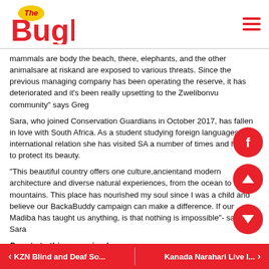The Bugle
mammals are body the beach, there, elephants, and the other animalsare at riskand are exposed to various threats. Since the previous managing company has been operating the reserve, it has deteriorated and it's been really upsetting to the Zwelibonvu community" says Greg
Sara, who joined Conservation Guardians in October 2017, has fallen in love with South Africa. As a student studying foreign languages and international relation she has visited SA a number of times and hopes to protect its beauty.
"This beautiful country offers one culture,ancientand modern architecture and diverse natural experiences, from the ocean to the mountains. This place has nourished my soul since I was a child and believe our BackaBuddy campaign can make a difference. If our Madiba has taught us anything, is that nothing is impossible"- says Sara
Donate to this campaign here: https://www.backabuddy.co.za/champion/project/shongweni67
KZN Blind and Deaf So... | Kanada Narahari Live I...